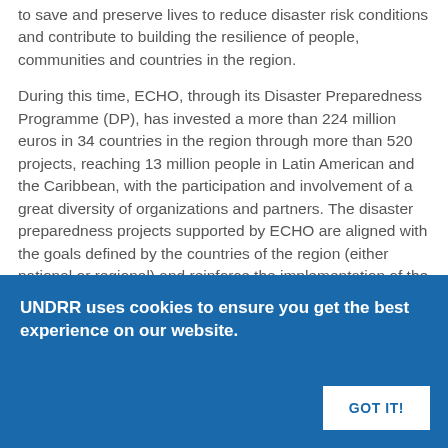to save and preserve lives to reduce disaster risk conditions and contribute to building the resilience of people, communities and countries in the region.
During this time, ECHO, through its Disaster Preparedness Programme (DP), has invested a more than 224 million euros in 34 countries in the region through more than 520 projects, reaching 13 million people in Latin American and the Caribbean, with the participation and involvement of a great diversity of organizations and partners. The disaster preparedness projects supported by ECHO are aligned with the goals defined by the countries of the region (either national or regional) and reinforce the implementation of the Sendai Framework Sendai Framework for Disaster Risk
UNDRR uses cookies to ensure you get the best experience on our website.
GOT IT!